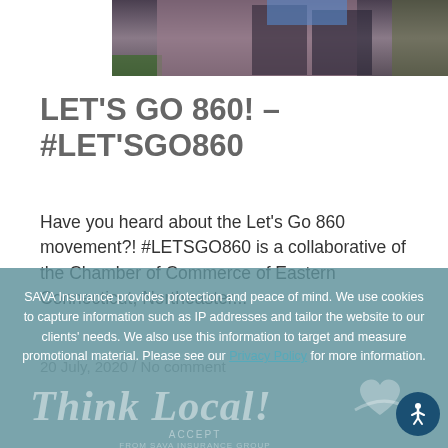[Figure (photo): Partial photo at top showing people with a sign, visible from chest down, against a brick wall background]
LET'S GO 860! – #LET'SEGO860
Have you heard about the Let's Go 860 movement?! #LETSGO860 is a collaborative of the Chamber of Commerce of Eastern Connecticut, Northeaster...
20 July, 2020 / No comment
SAVA Insurance provides protection and peace of mind. We use cookies to capture information such as IP addresses and tailor the website to our clients' needs. We also use this information to target and measure promotional material. Please see our Privacy Policy for more information.
[Figure (logo): Think Local! logo with heart graphic and ACCEPT text from SAVA Insurance Group, shown as watermark in footer]